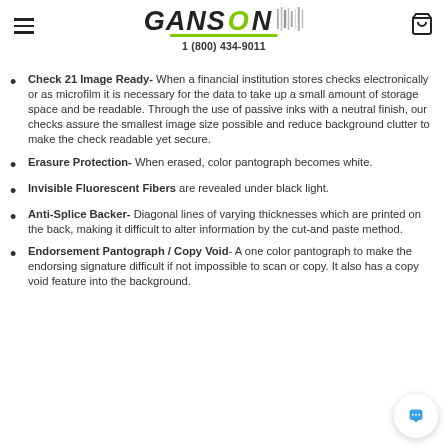GANSON 1 (800) 434-9011
Check 21 Image Ready- When a financial institution stores checks electronically or as microfilm it is necessary for the data to take up a small amount of storage space and be readable. Through the use of passive inks with a neutral finish, our checks assure the smallest image size possible and reduce background clutter to make the check readable yet secure.
Erasure Protection- When erased, color pantograph becomes white.
Invisible Fluorescent Fibers are revealed under black light.
Anti-Splice Backer- Diagonal lines of varying thicknesses which are printed on the back, making it difficult to alter information by the cut-and paste method.
Endorsement Pantograph / Copy Void- A one color pantograph to make the endorsing signature difficult if not impossible to scan or copy. It also has a copy void feature into the background.